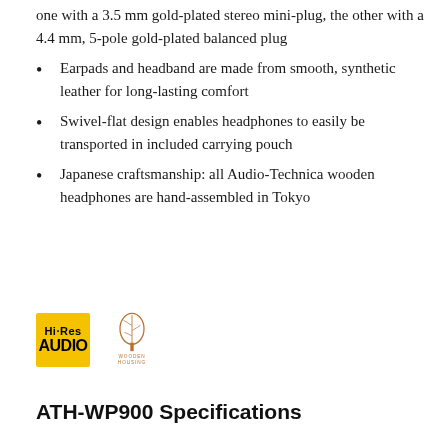one with a 3.5 mm gold-plated stereo mini-plug, the other with a 4.4 mm, 5-pole gold-plated balanced plug
Earpads and headband are made from smooth, synthetic leather for long-lasting comfort
Swivel-flat design enables headphones to easily be transported in included carrying pouch
Japanese craftsmanship: all Audio-Technica wooden headphones are hand-assembled in Tokyo
[Figure (logo): Hi-Res Audio badge (gold/yellow) and Wooden Housings certification logo]
ATH-WP900 Specifications